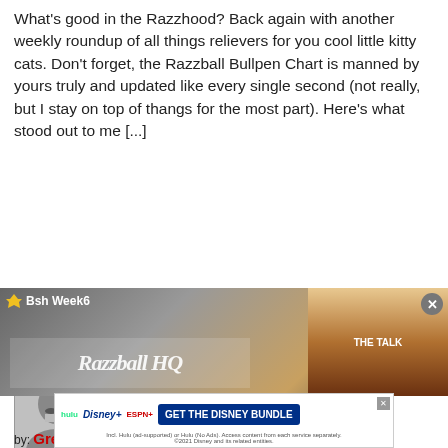What's good in the Razzhood? Back again with another weekly roundup of all things relievers for you cool little kitty cats. Don't forget, the Razzball Bullpen Chart is manned by yours truly and updated like every single second (not really, but I stay on top of thangs for the most part). Here's what stood out to me [...]
Please, blog, may I have some more?
Naylor Makes Chicago RPs His Sox Puppets
May 10, 2022 | Fantasy Baseball Daily Notes, Featured | 397 Comments
by: Grey
[Figure (screenshot): Bottom section showing a video thumbnail labeled 'Bsh Week6' with 'Razzball HQ' text, a right panel with brownish gradient, a close button, and a Disney Bundle advertisement banner at the bottom]